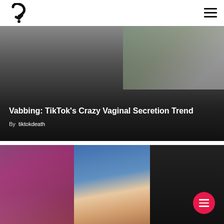[Figure (logo): Site logo — stylized question mark icon, black on white]
[Figure (photo): Article card with dark gradient overlay over a room/plant background image]
Vabbing: TikTok’s Crazy Vaginal Secretion Trend
By  tiktokdeath
[Figure (photo): Three-panel collage: left panel shows a smartphone with colorful app, center panel shows a man's face (Mark Zuckerberg), right panel is dark/black]